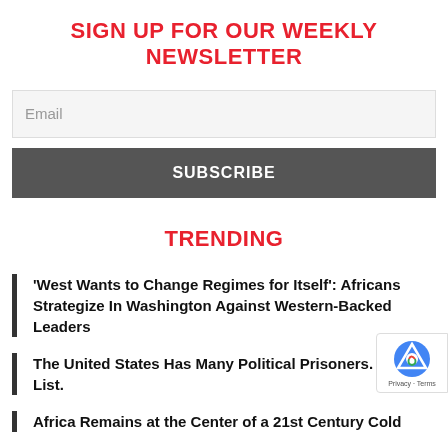SIGN UP FOR OUR WEEKLY NEWSLETTER
Email
SUBSCRIBE
TRENDING
'West Wants to Change Regimes for Itself': Africans Strategize In Washington Against Western-Backed Leaders
The United States Has Many Political Prisoners. Here's a List.
Africa Remains at the Center of a 21st Century Cold W...